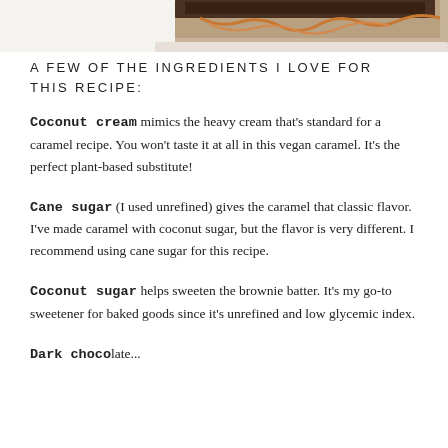[Figure (photo): Partial photo of a caramel brownie dessert on white background, cropped at top of page]
A FEW OF THE INGREDIENTS I LOVE FOR THIS RECIPE:
Coconut cream mimics the heavy cream that's standard for a caramel recipe. You won't taste it at all in this vegan caramel. It's the perfect plant-based substitute!
Cane sugar (I used unrefined) gives the caramel that classic flavor. I've made caramel with coconut sugar, but the flavor is very different. I recommend using cane sugar for this recipe.
Coconut sugar helps sweeten the brownie batter. It's my go-to sweetener for baked goods since it's unrefined and low glycemic index.
Dark chocolate...